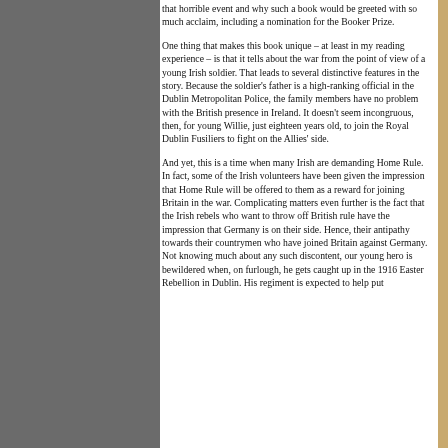that horrible event and why such a book would be greeted with so much acclaim, including a nomination for the Booker Prize.
One thing that makes this book unique – at least in my reading experience – is that it tells about the war from the point of view of a young Irish soldier. That leads to several distinctive features in the story. Because the soldier's father is a high-ranking official in the Dublin Metropolitan Police, the family members have no problem with the British presence in Ireland. It doesn't seem incongruous, then, for young Willie, just eighteen years old, to join the Royal Dublin Fusiliers to fight on the Allies' side.
And yet, this is a time when many Irish are demanding Home Rule. In fact, some of the Irish volunteers have been given the impression that Home Rule will be offered to them as a reward for joining Britain in the war. Complicating matters even further is the fact that the Irish rebels who want to throw off British rule have the impression that Germany is on their side. Hence, their antipathy towards their countrymen who have joined Britain against Germany. Not knowing much about any such discontent, our young hero is bewildered when, on furlough, he gets caught up in the 1916 Easter Rebellion in Dublin. His regiment is expected to help put